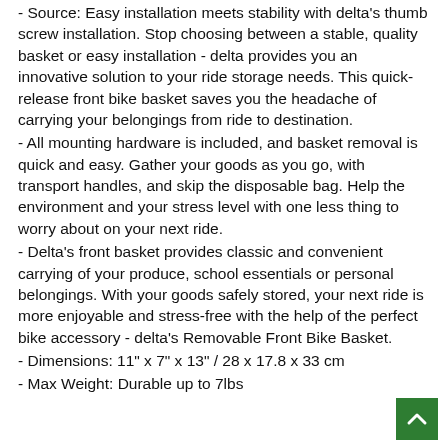- Source: Easy installation meets stability with delta's thumb screw installation. Stop choosing between a stable, quality basket or easy installation - delta provides you an innovative solution to your ride storage needs. This quick-release front bike basket saves you the headache of carrying your belongings from ride to destination.
- All mounting hardware is included, and basket removal is quick and easy. Gather your goods as you go, with transport handles, and skip the disposable bag. Help the environment and your stress level with one less thing to worry about on your next ride.
- Delta's front basket provides classic and convenient carrying of your produce, school essentials or personal belongings. With your goods safely stored, your next ride is more enjoyable and stress-free with the help of the perfect bike accessory - delta's Removable Front Bike Basket.
- Dimensions: 11" x 7" x 13" / 28 x 17.8 x 33 cm
- Max Weight: Durable up to 7lbs